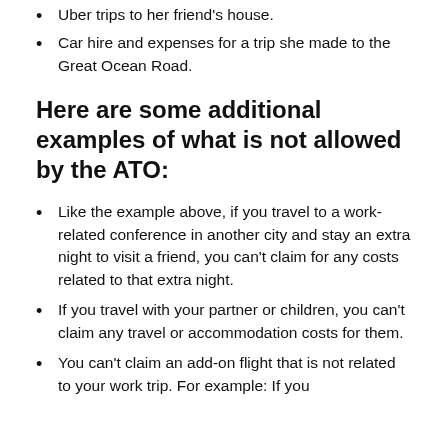Uber trips to her friend's house.
Car hire and expenses for a trip she made to the Great Ocean Road.
Here are some additional examples of what is not allowed by the ATO:
Like the example above, if you travel to a work-related conference in another city and stay an extra night to visit a friend, you can't claim for any costs related to that extra night.
If you travel with your partner or children, you can't claim any travel or accommodation costs for them.
You can't claim an add-on flight that is not related to your work trip. For example: If you